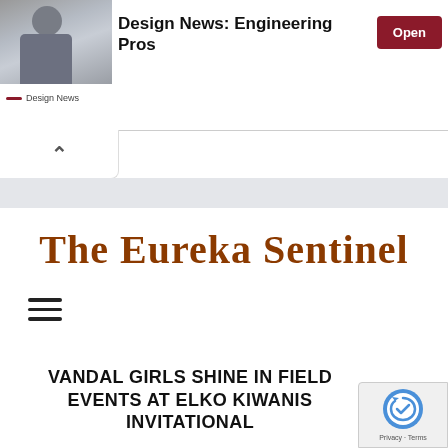[Figure (screenshot): Ad banner for 'Design News: Engineering Pros' with a photo of a person on left, bold title text, Design News source label, and a red Open button on the right]
[Figure (screenshot): Collapsed ad section with an upward chevron (^) button]
The Eureka Sentinel
[Figure (screenshot): Hamburger menu icon (three horizontal lines)]
VANDAL GIRLS SHINE IN FIELD EVENTS AT ELKO KIWANIS INVITATIONAL
[Figure (screenshot): reCAPTCHA badge in bottom-right corner showing the reCAPTCHA logo and Privacy - Terms text]